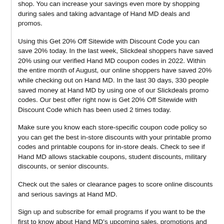shop. You can increase your savings even more by shopping during sales and taking advantage of Hand MD deals and promos.
Using this Get 20% Off Sitewide with Discount Code you can save 20% today. In the last week, Slickdeal shoppers have saved 20% using our verified Hand MD coupon codes in 2022. Within the entire month of August, our online shoppers have saved 20% while checking out on Hand MD. In the last 30 days, 330 people saved money at Hand MD by using one of our Slickdeals promo codes. Our best offer right now is Get 20% Off Sitewide with Discount Code which has been used 2 times today.
Make sure you know each store-specific coupon code policy so you can get the best in-store discounts with your printable promo codes and printable coupons for in-store deals. Check to see if Hand MD allows stackable coupons, student discounts, military discounts, or senior discounts.
Check out the sales or clearance pages to score online discounts and serious savings at Hand MD.
Sign up and subscribe for email programs if you want to be the first to know about Hand MD's upcoming sales, promotions and upcoming releases. Check for rewards and loyalty programs to make sure you are getting the most value while you shop.
See an expired deal or coupon and wish you were able to use it? Never miss out on a great Hand MD coupon or online deal again. Set up deal alerts for your favorite